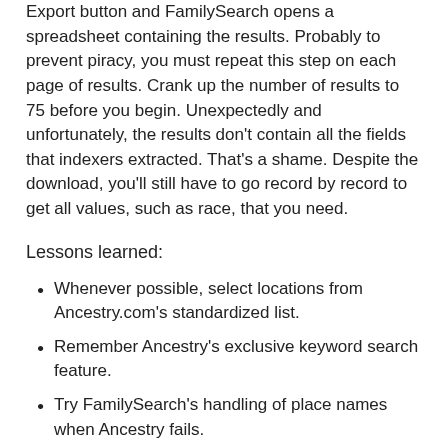Export button and FamilySearch opens a spreadsheet containing the results. Probably to prevent piracy, you must repeat this step on each page of results. Crank up the number of results to 75 before you begin. Unexpectedly and unfortunately, the results don't contain all the fields that indexers extracted. That's a shame. Despite the download, you'll still have to go record by record to get all values, such as race, that you need.
Lessons learned:
Whenever possible, select locations from Ancestry.com's standardized list.
Remember Ancestry's exclusive keyword search feature.
Try FamilySearch's handling of place names when Ancestry fails.
Utilize FamilySearch's exclusive result download feature.
When you can't find a result on one of these websites, try the other.